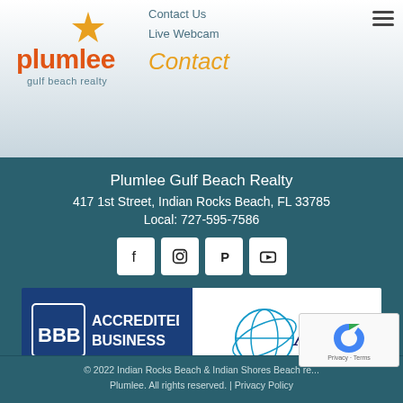[Figure (logo): Plumlee Gulf Beach Realty logo - orange star above orange text 'plumlee' with 'gulf beach realty' below]
Contact Us
Live Webcam
Contact
Plumlee Gulf Beach Realty
417 1st Street, Indian Rocks Beach, FL 33785
Local: 727-595-7586
[Figure (infographic): Row of four social media icons (Facebook, Instagram, Pinterest, YouTube) in white rounded square buttons]
[Figure (logo): BBB Accredited Business badge - dark blue background with BBB logo and text 'ACCREDITED BUSINESS']
[Figure (logo): ASTA logo - globe with orbital rings and ASTA text]
© 2022 Indian Rocks Beach & Indian Shores Beach re...
Plumlee. All rights reserved. | Privacy Policy